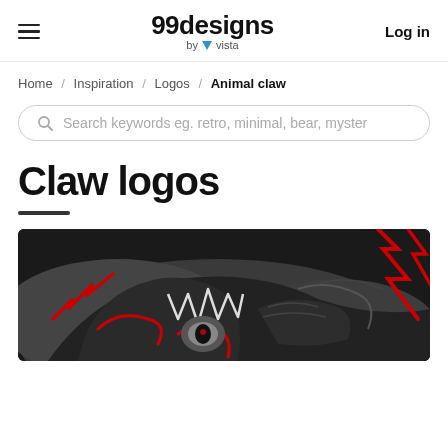99designs by vista | Log in
Home / Inspiration / Logos / Animal claw
Search keywords eg. retro, minimal, bear, myster
Claw logos
[Figure (illustration): Close-up of a dark dragon or monster mascot logo with red accents, sharp white teeth/claws, on a black and grey background]